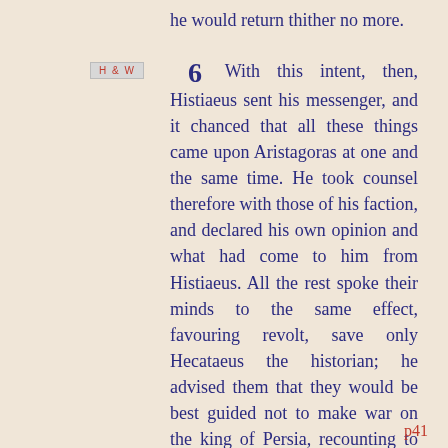he would return thither no more.
H & W
6  With this intent, then, Histiaeus sent his messenger, and it chanced that all these things came upon Aristagoras at one and the same time. He took counsel therefore with those of his faction, and declared his own opinion and what had come to him from Histiaeus. All the rest spoke their minds to the same effect, favouring revolt, save only Hecataeus the historian; he advised them that they would be best guided not to make war on the king of Persia, recounting to them the tale of the nations subject to Darius, and all his power. But when they would not be persuaded by him, he counselled them that their next best plan was to make themselves masters of the seas. This, said he in his speech, he could see no way of
p41